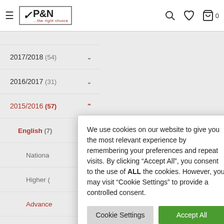P&N ...the right choice — navigation header with search, wishlist, cart icons
2017/2018 (54)
2016/2017 (31)
2015/2016 (57)
English (7)
Nationa...
Higher (
Advanced...
Bundle (
2015 DQP...
Drama (5)
French (4)
German (4)
Spanish (4)
We use cookies on our website to give you the most relevant experience by remembering your preferences and repeat visits. By clicking "Accept All", you consent to the use of ALL the cookies. However, you may visit "Cookie Settings" to provide a controlled consent.
Cookie Settings | Accept All